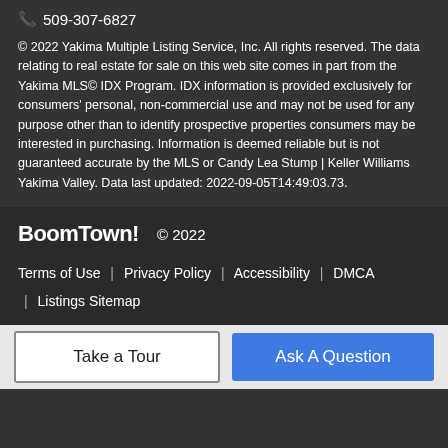📞 509-307-6827
© 2022 Yakima Multiple Listing Service, Inc. All rights reserved. The data relating to real estate for sale on this web site comes in part from the Yakima MLS© IDX Program. IDX information is provided exclusively for consumers' personal, non-commercial use and may not be used for any purpose other than to identify prospective properties consumers may be interested in purchasing. Information is deemed reliable but is not guaranteed accurate by the MLS or Candy Lea Stump | Keller Williams Yakima Valley. Data last updated: 2022-09-05T14:49:03.73.
BoomTown!  © 2022
Terms of Use | Privacy Policy | Accessibility | DMCA | Listings Sitemap
Take a Tour
Ask A Question